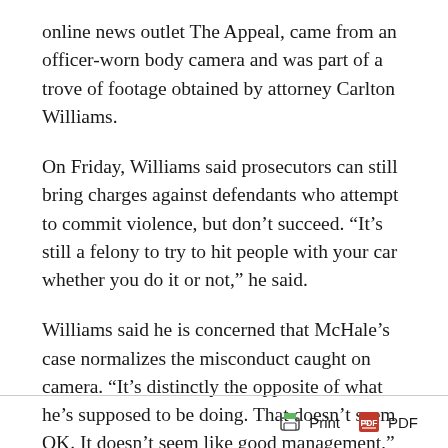online news outlet The Appeal, came from an officer-worn body camera and was part of a trove of footage obtained by attorney Carlton Williams.
On Friday, Williams said prosecutors can still bring charges against defendants who attempt to commit violence, but don’t succeed. “It’s still a felony to try to hit people with your car whether you do it or not,” he said.
Williams said he is concerned that McHale’s case normalizes the misconduct caught on camera. “It’s distinctly the opposite of what he’s supposed to be doing. That doesn’t seem OK. It doesn’t seem like good management,” he said [Boston.com].
Print  PDF